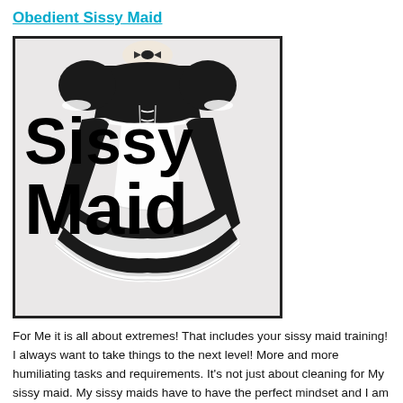Obedient Sissy Maid
[Figure (photo): Product photo of a black and white maid costume dress on a mannequin torso, with large bold text overlay reading 'Sissy Maid']
For Me it is all about extremes! That includes your sissy maid training! I always want to take things to the next level! More and more humiliating tasks and requirements. It’s not just about cleaning for My sissy maid. My sissy maids have to have the perfect mindset and I am going to make sure